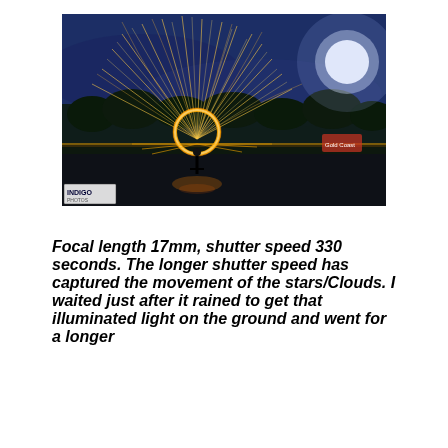[Figure (photo): Night photography of steel wool spinning. A person stands on a wet road holding a spinning circle of burning steel wool, creating a glowing orange ring with sparks flying outward in all directions. The sky is deep blue with cloud trails and a bright moon visible in the upper right. Trees are silhouetted in the background. An INDIGO watermark appears in the lower left corner.]
Focal length 17mm, shutter speed 330 seconds. The longer shutter speed has captured the movement of the stars/Clouds. I waited just after it rained to get that illuminated light on the ground and went for a longer